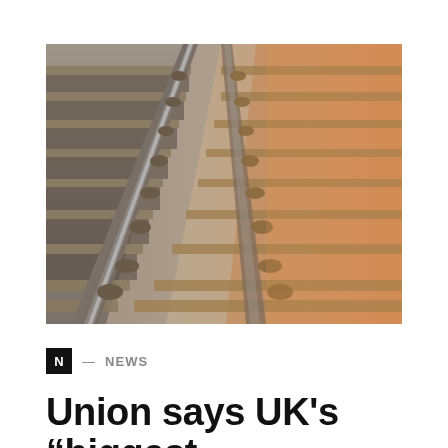[Figure (photo): Close-up photograph of railway tracks from a low angle, with gravel ballast and wooden sleepers visible. The steel rail runs diagonally from bottom-left to top-right. The right side of the image has a warm orange-golden sunlight tint.]
N — NEWS
Union says UK's “biggest rail strike in modern